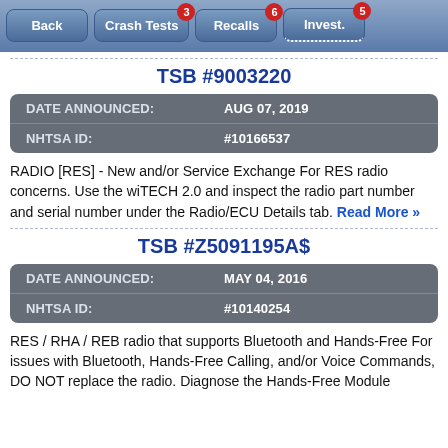[Figure (screenshot): Navigation bar with buttons: Back, Crash Tests (badge 3), Recalls (badge 6), Invest. (badge 5, dotted underline)]
TSB #9003220
| DATE ANNOUNCED: | AUG 07, 2019 |
| --- | --- |
| NHTSA ID: | #10166537 |
RADIO [RES] - New and/or Service Exchange For RES radio concerns. Use the wiTECH 2.0 and inspect the radio part number and serial number under the Radio/ECU Details tab. Read More »
TSB #Z5091195A$
| DATE ANNOUNCED: | MAY 04, 2016 |
| --- | --- |
| NHTSA ID: | #10140254 |
RES / RHA / REB radio that supports Bluetooth and Hands-Free For issues with Bluetooth, Hands-Free Calling, and/or Voice Commands, DO NOT replace the radio. Diagnose the Hands-Free Module